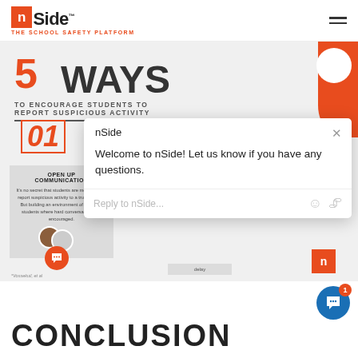[Figure (logo): nSide - The School Safety Platform logo with orange n in box]
[Figure (infographic): 5 Ways to Encourage Students to Report Suspicious Activity infographic with steps 01 Open Up Communication, 02 Make It, 03 Take Students]
OPEN UP COMMUNICATION
It's no secret that students are more likely to report suspicious activity to a trusted adult. But building an environment of trust with students where hard conversations are encouraged.
[Figure (screenshot): nSide chat popup widget saying Welcome to nSide! Let us know if you have any questions. with Reply to nSide input field]
*Vossekuil, et al
CONCLUSION